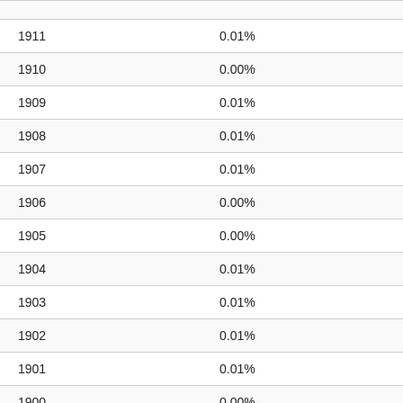| 1911 | 0.01% |
| 1910 | 0.00% |
| 1909 | 0.01% |
| 1908 | 0.01% |
| 1907 | 0.01% |
| 1906 | 0.00% |
| 1905 | 0.00% |
| 1904 | 0.01% |
| 1903 | 0.01% |
| 1902 | 0.01% |
| 1901 | 0.01% |
| 1900 | 0.00% |